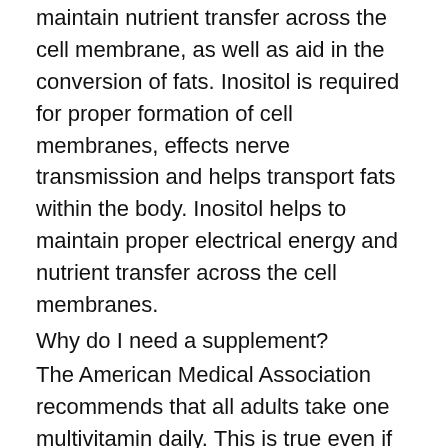maintain nutrient transfer across the cell membrane, as well as aid in the conversion of fats. Inositol is required for proper formation of cell membranes, effects nerve transmission and helps transport fats within the body. Inositol helps to maintain proper electrical energy and nutrient transfer across the cell membranes.
Why do I need a supplement?
The American Medical Association recommends that all adults take one multivitamin daily. This is true even if you already eat a diet rich in fresh, whole, natural foods, because the foods you consume often don't supply all the vitamins and minerals you need, at the recommended levels. If you're going to supplement, why not start with the world's best multi? NUTRILITE® DOUBLE X® Vitamin/Mineral/Phytonutrient. Nutrilite has always included these plant nutrients in its supplement formulas